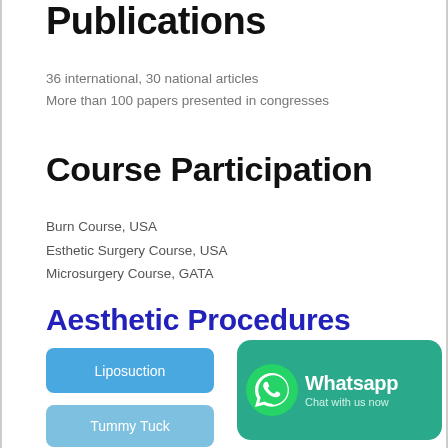Publications
36 international, 30 national articles
More than 100 papers presented in congresses
Course Participation
Burn Course, USA
Esthetic Surgery Course, USA
Microsurgery Course, GATA
Aesthetic Procedures
[Figure (other): Blue rounded button labeled Liposuction]
[Figure (other): WhatsApp chat banner with green background, phone icon, 'Whatsapp' title and 'Chat with us now' subtitle]
[Figure (other): Light blue rounded button labeled Tummy Tuck]